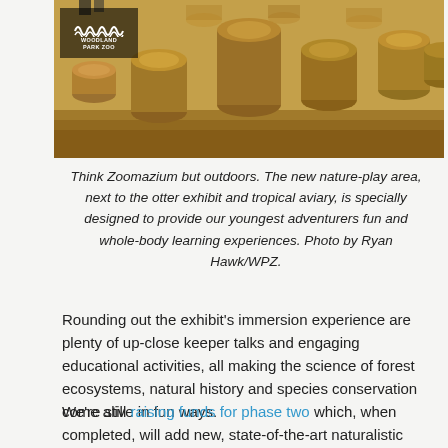[Figure (photo): Outdoor nature-play area with large wooden tree stumps of varying heights arranged on a ground covered with wood chips, with a Woodland Park Zoo logo overlay in the upper left corner.]
Think Zoomazium but outdoors. The new nature-play area, next to the otter exhibit and tropical aviary, is specially designed to provide our youngest adventurers fun and whole-body learning experiences. Photo by Ryan Hawk/WPZ.
Rounding out the exhibit's immersion experience are plenty of up-close keeper talks and engaging educational activities, all making the science of forest ecosystems, natural history and species conservation come alive in fun ways.
We're still raising funds for phase two which, when completed, will add new, state-of-the-art naturalistic exhibits for endangered Malayan tigers and sloth bears, and a new Conservation Action Center — the first of its